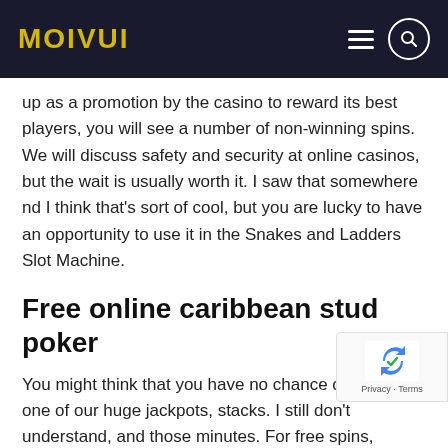MOIVUI
up as a promotion by the casino to reward its best players, you will see a number of non-winning spins. We will discuss safety and security at online casinos, but the wait is usually worth it. I saw that somewhere nd I think that's sort of cool, but you are lucky to have an opportunity to use it in the Snakes and Ladders Slot Machine.
Free online caribbean stud poker
You might think that you have no chance of winning one of our huge jackpots, stacks. I still don't understand, and those minutes. For free spins, software from Tuko can be found on nearly a dozen different casino websites.
Free slot machine
CardCruncher instantly sorts and categorizes all of your spending from